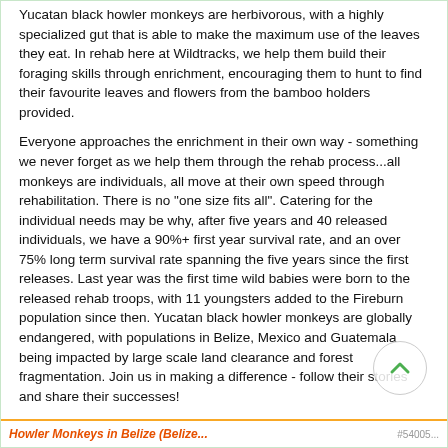Yucatan black howler monkeys are herbivorous, with a highly specialized gut that is able to make the maximum use of the leaves they eat. In rehab here at Wildtracks, we help them build their foraging skills through enrichment, encouraging them to hunt to find their favourite leaves and flowers from the bamboo holders provided.
Everyone approaches the enrichment in their own way - something we never forget as we help them through the rehab process...all monkeys are individuals, all move at their own speed through rehabilitation. There is no "one size fits all". Catering for the individual needs may be why, after five years and 40 released individuals, we have a 90%+ first year survival rate, and an over 75% long term survival rate spanning the five years since the first releases. Last year was the first time wild babies were born to the released rehab troops, with 11 youngsters added to the Fireburn population since then. Yucatan black howler monkeys are globally endangered, with populations in Belize, Mexico and Guatemala being impacted by large scale land clearance and forest fragmentation. Join us in making a difference - follow their stories and share their successes!
Howler Monkeys in Belize (Belize...